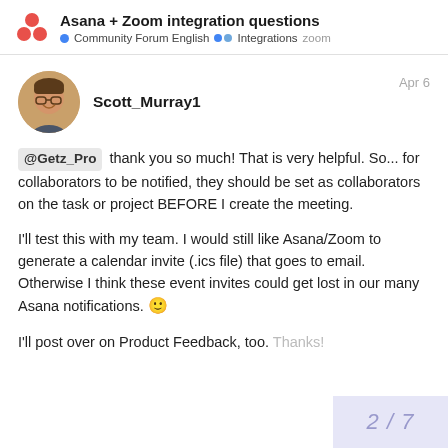Asana + Zoom integration questions • Community Forum English •• Integrations zoom
Scott_Murray1    Apr 6
@Getz_Pro thank you so much! That is very helpful. So... for collaborators to be notified, they should be set as collaborators on the task or project BEFORE I create the meeting.

I'll test this with my team. I would still like Asana/Zoom to generate a calendar invite (.ics file) that goes to email. Otherwise I think these event invites could get lost in our many Asana notifications. 🙂

I'll post over on Product Feedback, too. Thanks!
2 / 7